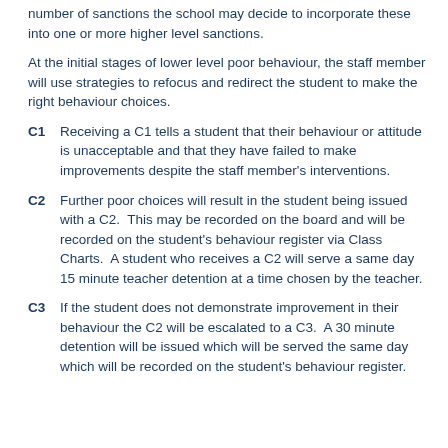number of sanctions the school may decide to incorporate these into one or more higher level sanctions.
At the initial stages of lower level poor behaviour, the staff member will use strategies to refocus and redirect the student to make the right behaviour choices.
C1 – Receiving a C1 tells a student that their behaviour or attitude is unacceptable and that they have failed to make improvements despite the staff member's interventions.
C2 – Further poor choices will result in the student being issued with a C2. This may be recorded on the board and will be recorded on the student's behaviour register via Class Charts. A student who receives a C2 will serve a same day 15 minute teacher detention at a time chosen by the teacher.
C3 – If the student does not demonstrate improvement in their behaviour the C2 will be escalated to a C3. A 30 minute detention will be issued which will be served the same day which will be recorded on the student's behaviour register.